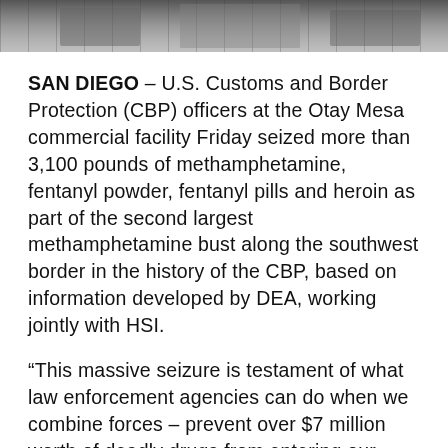[Figure (photo): Top strip of a photograph showing a drug seizure scene, partially cropped at the top of the page.]
SAN DIEGO – U.S. Customs and Border Protection (CBP) officers at the Otay Mesa commercial facility Friday seized more than 3,100 pounds of methamphetamine, fentanyl powder, fentanyl pills and heroin as part of the second largest methamphetamine bust along the southwest border in the history of the CBP, based on information developed by DEA, working jointly with HSI.
“This massive seizure is testament of what law enforcement agencies can do when we combine forces – prevent over $7 million worth of deadly drugs from entering our country; thus saving countless lives from addiction and overdose deaths,” said DEA Special Agent in Charge John W. Callery. “DEA cherishes our great law enforcement partners in San Diego, especially those who work tirelessly to protect our nation’s borders. We will continue to work together to